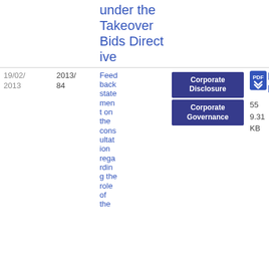| Date | Number | Title | Tags | Actions |
| --- | --- | --- | --- | --- |
|  |  | under the Takeover Bids Directive |  |  |
| 19/02/2013 | 2013/84 | Feedback statement on the consultation regarding the role of the... | Corporate Disclosure, Corporate Governance | PDF 55 9.31 KB |